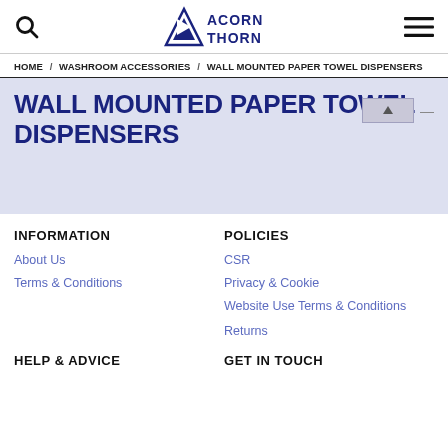ACORN THORN — navigation header with search and menu icons
HOME / WASHROOM ACCESSORIES / WALL MOUNTED PAPER TOWEL DISPENSERS
WALL MOUNTED PAPER TOWEL DISPENSERS
INFORMATION
About Us
Terms & Conditions
POLICIES
CSR
Privacy & Cookie
Website Use Terms & Conditions
Returns